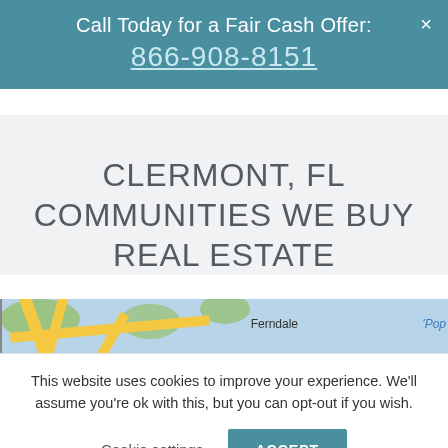Call Today for a Fair Cash Offer:
866-908-8151
CLERMONT, FL COMMUNITIES WE BUY REAL ESTATE
[Figure (map): Partial map showing Clermont, FL area with roads, green areas, and label 'Ferndale']
This website uses cookies to improve your experience. We'll assume you're ok with this, but you can opt-out if you wish.
Cookie settings   ACCEPT